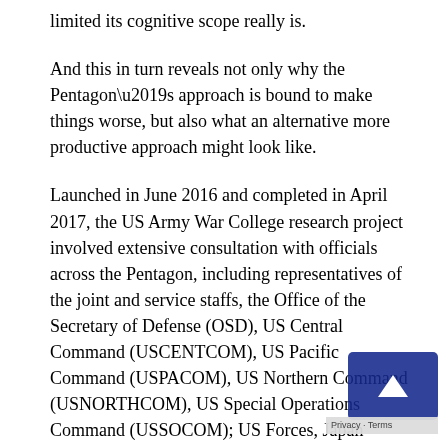limited its cognitive scope really is.
And this in turn reveals not only why the Pentagon’s approach is bound to make things worse, but also what an alternative more productive approach might look like.
Launched in June 2016 and completed in April 2017, the US Army War College research project involved extensive consultation with officials across the Pentagon, including representatives of the joint and service staffs, the Office of the Secretary of Defense (OSD), US Central Command (USCENTCOM), US Pacific Command (USPACOM), US Northern Command (USNORTHCOM), US Special Operations Command (USSOCOM); US Forces, Japan (USFJ), the Defense Intelligence Agency (DIA), the National Intelligence Council, US Strategic Command (USSTRATCOM), and US Army Pacific [US-ARPAC] and Pacific Fleet [PACFLT]).
The study team also consulted with a handful of American think-tanks of a somewhat neoconservative persuasion, American Enterprise Institute, the Center for Strategic and